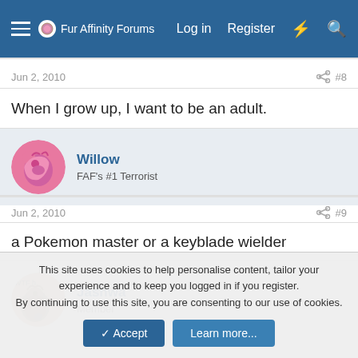Fur Affinity Forums | Log in | Register
Jun 2, 2010   #8
When I grow up, I want to be an adult.
Willow
FAF's #1 Terrorist
Jun 2, 2010   #9
a Pokemon master or a keyblade wielder
Jashwa
Member
This site uses cookies to help personalise content, tailor your experience and to keep you logged in if you register.
By continuing to use this site, you are consenting to our use of cookies.